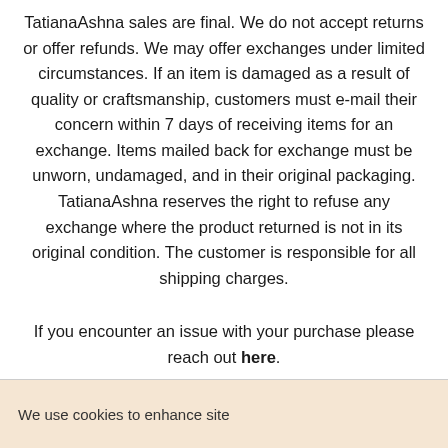TatianaAshna sales are final. We do not accept returns or offer refunds. We may offer exchanges under limited circumstances. If an item is damaged as a result of quality or craftsmanship, customers must e-mail their concern within 7 days of receiving items for an exchange. Items mailed back for exchange must be unworn, undamaged, and in their original packaging. TatianaAshna reserves the right to refuse any exchange where the product returned is not in its original condition. The customer is responsible for all shipping charges.
If you encounter an issue with your purchase please reach out here.
We use cookies to enhance site